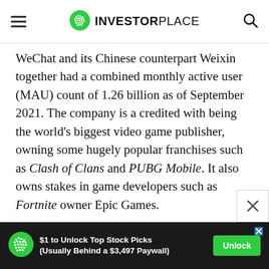INVESTORPLACE
WeChat and its Chinese counterpart Weixin together had a combined monthly active user (MAU) count of 1.26 billion as of September 2021. The company is a credited with being the world's biggest video game publisher, owning some hugely popular franchises such as Clash of Clans and PUBG Mobile. It also owns stakes in game developers such as Fortnite owner Epic Games.
The diversified nature of its businesses in several high-growth areas bodes well for the company.
[Figure (other): Advertisement banner: $1 to Unlock Top Stock Picks (Usually Behind a $3,497 Paywall) with Unlock button and InvestorPlace logo]